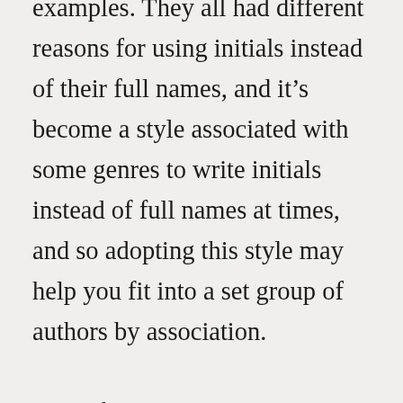examples. They all had different reasons for using initials instead of their full names, and it's become a style associated with some genres to write initials instead of full names at times, and so adopting this style may help you fit into a set group of authors by association.

Two of the authors I mentioned only used this abbreviated version of their names for what I consider an